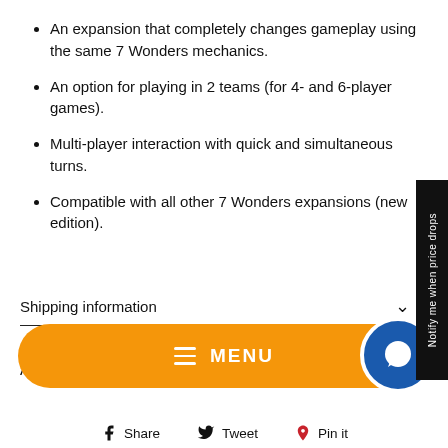An expansion that completely changes gameplay using the same 7 Wonders mechanics.
An option for playing in 2 teams (for 4- and 6-player games).
Multi-player interaction with quick and simultaneous turns.
Compatible with all other 7 Wonders expansions (new edition).
Shipping information
Ask a question
[Figure (other): Orange MENU navigation bar with hamburger icon and white text MENU, with blue chat circle button on right]
Share  Tweet  Pin it